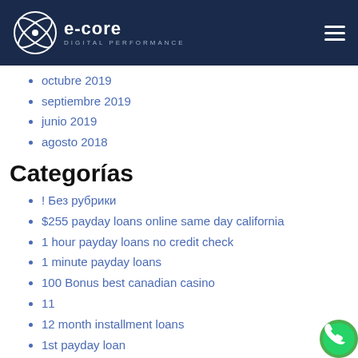e-core DIGITAL PERFORMANCE
octubre 2019
septiembre 2019
junio 2019
agosto 2018
Categorías
! Без рубрики
$255 payday loans online same day california
1 hour payday loans no credit check
1 minute payday loans
100 Bonus best canadian casino
11
12 month installment loans
1st payday loan
1st payday loans
1stclassdating-main celebrity dating gam…
1stclassdating-main who is billie eilish da…
2 Deposit best casino online canada
2 payday loans